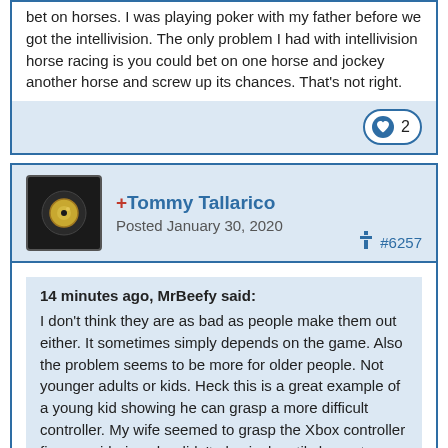bet on horses. I was playing poker with my father before we got the intellivision. The only problem I had with intellivision horse racing is you could bet on one horse and jockey another horse and screw up its chances. That's not right.
[Figure (other): Like button with heart icon showing count of 2]
+Tommy Tallarico
Posted January 30, 2020
#6257
14 minutes ago, MrBeefy said:
I don't think they are as bad as people make them out either. It sometimes simply depends on the game. Also the problem seems to be more for older people. Not younger adults or kids. Heck this is a great example of a young kid showing he can grasp a more difficult controller. My wife seemed to grasp the Xbox controller fine considering she didn't play jack until she met me. But